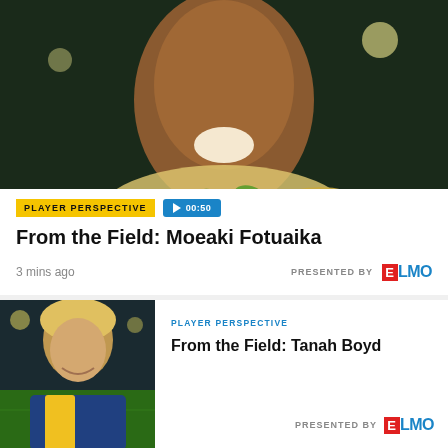[Figure (photo): Player wearing flower lei, smiling on field after match, stadium lights in background]
PLAYER PERSPECTIVE
00:50
From the Field: Moeaki Fotuaika
3 mins ago
PRESENTED BY ELMO
[Figure (photo): Blonde player in blue/gold jersey smiling on stadium field]
PLAYER PERSPECTIVE
From the Field: Tanah Boyd
PRESENTED BY ELMO